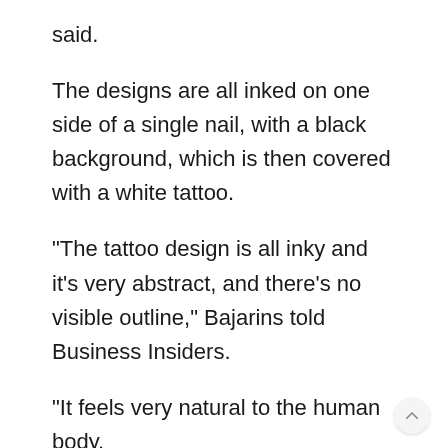said.
The designs are all inked on one side of a single nail, with a black background, which is then covered with a white tattoo.
“The tattoo design is all inky and it’s very abstract, and there’s no visible outline,” Bajarins told Business Insiders.
“It feels very natural to the human body.
The tattoos themselves are very precise and I love the fact that it’s so easy to make them.”